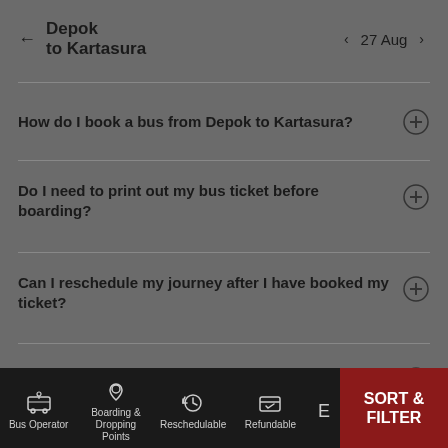Depok to Kartasura  27 Aug
How do I book a bus from Depok to Kartasura?
Do I need to print out my bus ticket before boarding?
Can I reschedule my journey after I have booked my ticket?
How do I pay for my bus ticket on the redBus website?
Bus Operator  Boarding & Dropping Points  Reschedulable  Refundable  SORT & FILTER